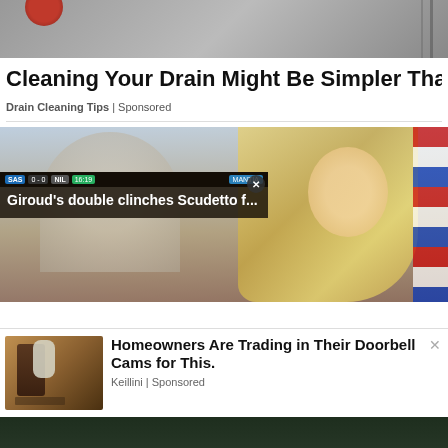[Figure (photo): Top portion of a drain/water image, cropped]
Cleaning Your Drain Might Be Simpler Than T
Drain Cleaning Tips | Sponsored
[Figure (screenshot): News website screenshot showing a woman with blonde hair and flags in background, with a video overlay showing 'Giroud's double clinches Scudetto f...' sports news, and a popup ad for 'Homeowners Are Trading in Their Doorbell Cams for This.' from Keillini | Sponsored]
Giroud's double clinches Scudetto f...
Homeowners Are Trading in Their Doorbell Cams for This.
Keillini | Sponsored